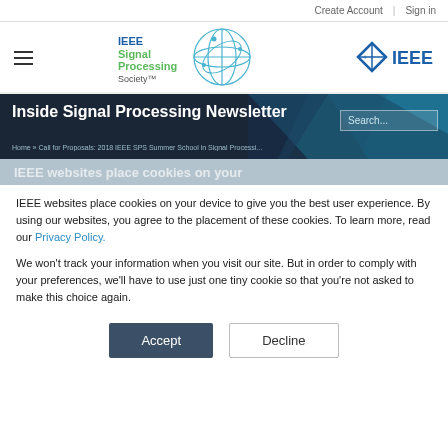Create Account | Sign in
[Figure (logo): IEEE Signal Processing Society logo with globe graphic and green/blue text, plus IEEE diamond logo on the right]
Inside Signal Processing Newsletter
Home » Call for Proposals: 2018 IEEE SPS Summer School in Signal Processing
IEEE websites place cookies on your device to give you the best user experience. By using our websites, you agree to the placement of these cookies. To learn more, read our Privacy Policy.
We won't track your information when you visit our site. But in order to comply with your preferences, we'll have to use just one tiny cookie so that you're not asked to make this choice again.
Accept | Decline